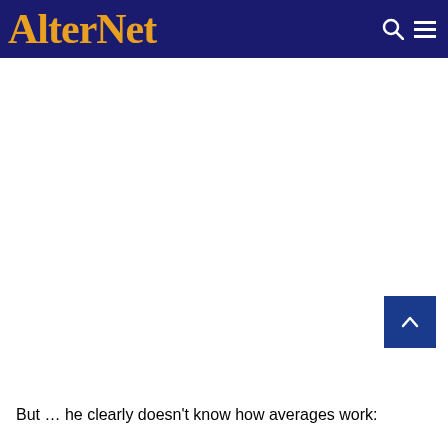AlterNet
But … he clearly doesn't know how averages work: